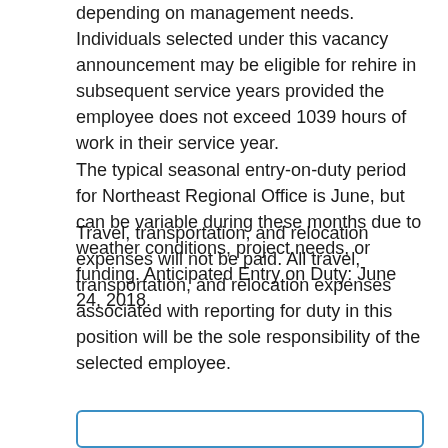depending on management needs. Individuals selected under this vacancy announcement may be eligible for rehire in subsequent service years provided the employee does not exceed 1039 hours of work in their service year.
The typical seasonal entry-on-duty period for Northeast Regional Office is June, but can be variable during these months due to weather conditions, project needs, or funding. Anticipated Entry on Duty: June 24, 2018.
Travel, transportation, and relocation expenses will not be paid. All travel, transportation, and relocation expenses associated with reporting for duty in this position will be the sole responsibility of the selected employee.